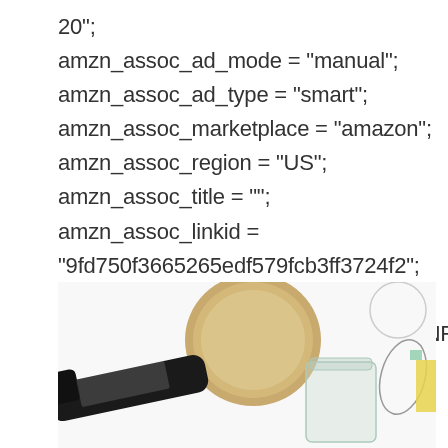20";
amzn_assoc_ad_mode = "manual";
amzn_assoc_ad_type = "smart";
amzn_assoc_marketplace = "amazon";
amzn_assoc_region = "US";
amzn_assoc_title = "";
amzn_assoc_linkid =
"9fd750f3665265edf579fcb3ff3724f2";
amzn_assoc_asins =
"B00KKV2SCC,B000SN0WES,B06Y3NF371,B01M1JRD0C
[Figure (photo): Flatlay photo showing skincare/beauty products: a dark bottle lying down, a gold/tan lid, a glass jar, and decorative geometric shapes on a white background]